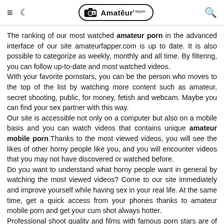≡ ☾ [AmateurFapper logo] 🔍
The ranking of our most watched amateur porn in the advanced interface of our site amateurfapper.com is up to date. It is also possible to categorize as weekly, monthly and all time. By filtering, you can follow up-to-date and most watched videos.
With your favorite pornstars, you can be the person who moves to the top of the list by watching more content such as amateur, secret shooting, public, for money, fetish and webcam. Maybe you can find your sex partner with this way.
Our site is accessible not only on a computer but also on a mobile basis and you can watch videos that contains unique amateur mobile porn.Thanks to the most viewed videos, you will see the likes of other horny people like you, and you will encounter videos that you may not have discovered or watched before.
Do you want to understand what horny people want in general by watching the most viewed videos? Come to our site immediately and improve yourself while having sex in your real life. At the same time, get a quick access from your phones thanks to amateur mobile porn and get your cum shot always hotter.
Professional shoot quality and films with famous porn stars are of course nice, but we started to see the same on every site, and after a while it becomes annoying. We recommend that you meet amateur porn and make sure you don't get stuck with the quality of